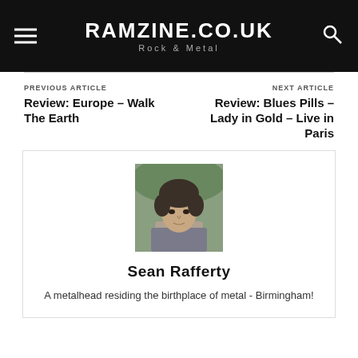RAMZINE.CO.UK — Rock & Metal
PREVIOUS ARTICLE
Review: Europe – Walk The Earth
NEXT ARTICLE
Review: Blues Pills – Lady in Gold – Live in Paris
[Figure (photo): Portrait photo of Sean Rafferty, a young man with dark messy hair, photographed outdoors.]
Sean Rafferty
A metalhead residing the birthplace of metal - Birmingham!